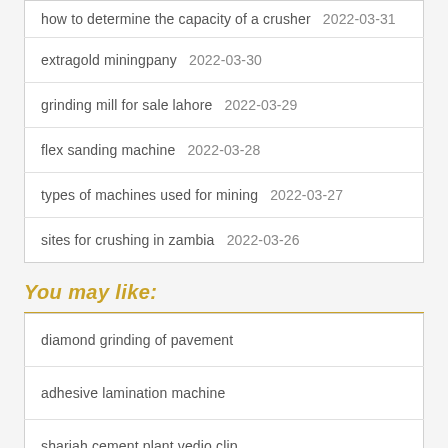how to determine the capacity of a crusher  2022-03-31
extragold miningpany  2022-03-30
grinding mill for sale lahore  2022-03-29
flex sanding machine  2022-03-28
types of machines used for mining  2022-03-27
sites for crushing in zambia  2022-03-26
You may like:
diamond grinding of pavement
adhesive lamination machine
sharjah cement plant vedio clip
sharpening knives machine